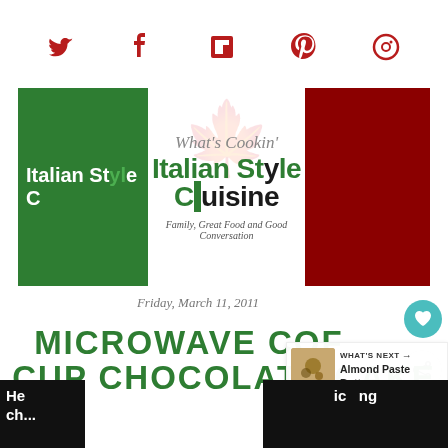[Figure (logo): Social media icons row: Twitter, Facebook, Flipboard, Pinterest, and a camera/share icon, all in dark red/crimson color]
[Figure (logo): What's Cookin Italian Style Cuisine blog logo banner with green and red sections and italic script tagline 'Family, Great Food and Good Conversation']
Friday, March 11, 2011
MICROWAVE COFFEE CUP CHOCOLATE CAKE
[Figure (photo): What's Next panel showing thumbnail of Almond Paste Butter recipe with arrow]
He...
ic...ng